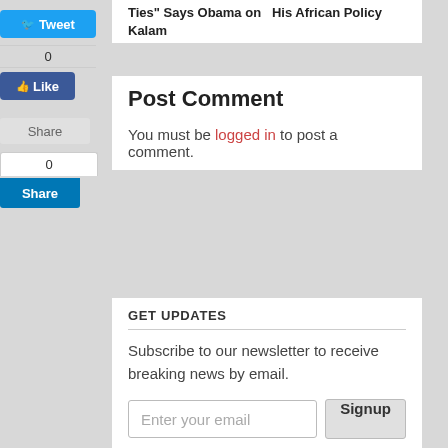Ties" Says Obama on    His African Policy Kalam
[Figure (screenshot): Tweet button (blue), Facebook Like count (0) and Like button (blue), Share button (gray), LinkedIn share count (0) and Share button (blue)]
Post Comment
You must be logged in to post a comment.
GET UPDATES
Subscribe to our newsletter to receive breaking news by email.
Enter your email
RECENT POSTS